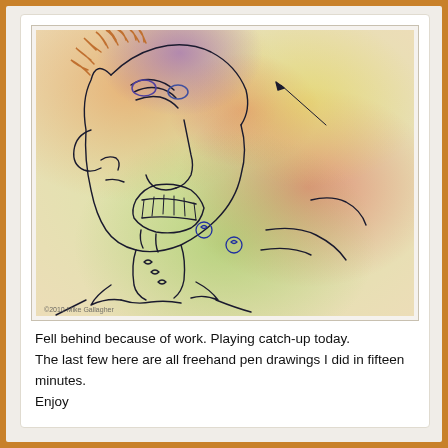[Figure (illustration): A colorful freehand pen drawing of a distorted face with an open mouth showing teeth, wild orange hair, purple forehead, green and red skin tones. Two small circular eye-like symbols appear at the bottom. Watermark reads '©2010 Mike Gallagher'.]
Fell behind because of work. Playing catch-up today.
The last few here are all freehand pen drawings I did in fifteen minutes.
Enjoy